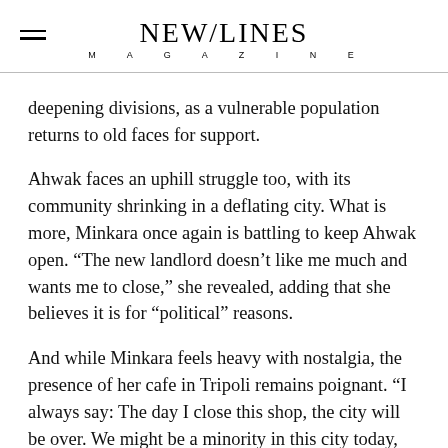NEW/LINES MAGAZINE
deepening divisions, as a vulnerable population returns to old faces for support.
Ahwak faces an uphill struggle too, with its community shrinking in a deflating city. What is more, Minkara once again is battling to keep Ahwak open. “The new landlord doesn’t like me much and wants me to close,” she revealed, adding that she believes it is for “political” reasons.
And while Minkara feels heavy with nostalgia, the presence of her cafe in Tripoli remains poignant. “I always say: The day I close this shop, the city will be over. We might be a minority in this city today, but we